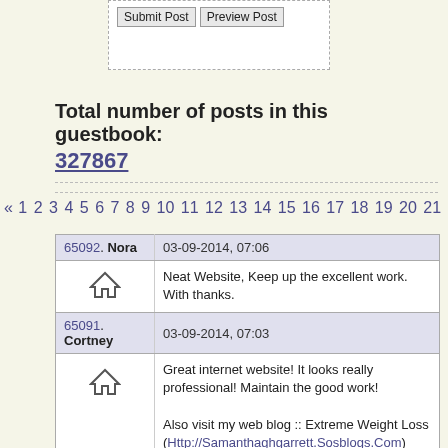[Figure (screenshot): Form area with Submit Post and Preview Post buttons]
Total number of posts in this guestbook:
327867
« 1 2 3 4 5 6 7 8 9 10 11 12 13 14 15 16 17 18 19 20 21 22 23 2
| User | Post |
| --- | --- |
| 65092. Nora | 03-09-2014, 07:06 |
| [home icon] | Neat Website, Keep up the excellent work. With thanks. |
| 65091. Cortney | 03-09-2014, 07:03 |
| [home icon] | Great internet website! It looks really professional! Maintain the good work!

Also visit my web blog :: Extreme Weight Loss (Http://Samanthaghgarrett.Sosblogs.Com) |